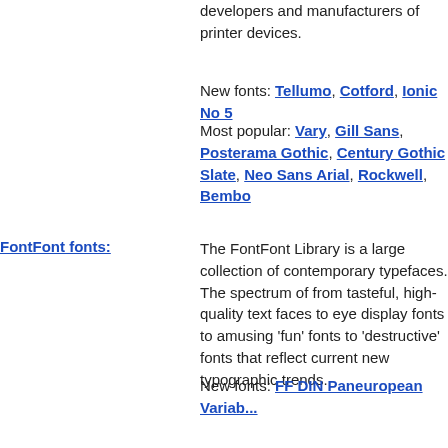developers and manufacturers of printer devices.
New fonts: Tellumo, Cotford, Ionic No 5
Most popular: Vary, Gill Sans, Posterama Gothic, Century Gothic Slate, Neo Sans Arial, Rockwell, Bembo
FontFont fonts:
The FontFont Library is a large collection of contemporary typefaces. The spectrum of from tasteful, high-quality text faces to eye display fonts to amusing 'fun' fonts to 'destructive' fonts that reflect current new typographic trends.
New fonts: FF DIN Paneuropean Variable
Most popular: FF Scala, FF Scala Sans, Matrix, FF Kievit, FF Meta, FF Trixie, F FF Celeste
Exljbris fonts:
Most popular: Museo Sans, Museo, Museo Rounded, Calluna, Anivers
Linotype fonts:
Linotype Library is one of the most famous